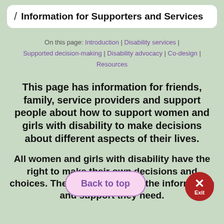/ Information for Supporters and Services
On this page: Introduction | Disability services | Supported decision-making | Disability advocacy | Co-design | Resources
This page has information for friends, family, service providers and support people about how to support women and girls with disability to make decisions about different aspects of their lives.
All women and girls with disability have the right to make their own decisions and choices. They have access to the information and support they need.